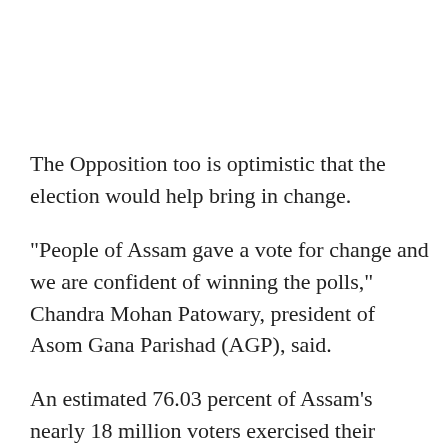The Opposition too is optimistic that the election would help bring in change.
"People of Assam gave a vote for change and we are confident of winning the polls," Chandra Mohan Patowary, president of Asom Gana Parishad (AGP), said.
An estimated 76.03 percent of Assam's nearly 18 million voters exercised their franchise to decide the fate of 986 candidates in the fray.
Although no one has emerged as the frontrunner, the